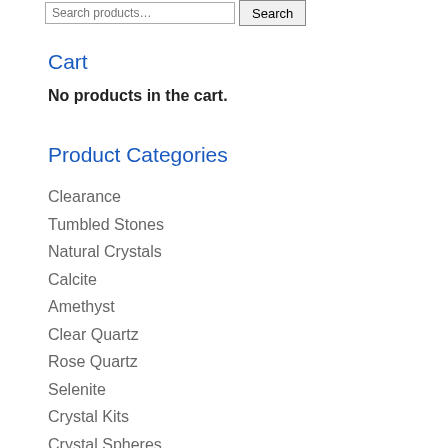Search products...   Search
Cart
No products in the cart.
Product Categories
Clearance
Tumbled Stones
Natural Crystals
Calcite
Amethyst
Clear Quartz
Rose Quartz
Selenite
Crystal Kits
Crystal Spheres
Crystal Wands
Polished Points
Crystal Pyramids
Crystal Eggs